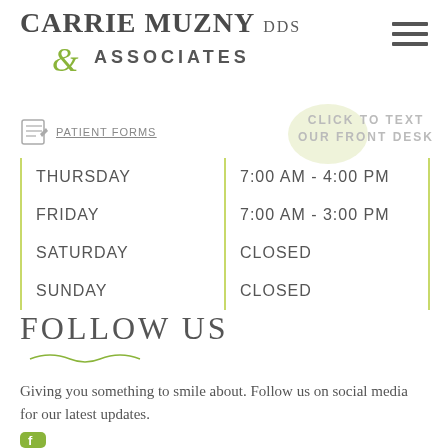CARRIE MUZNY DDS & ASSOCIATES
PATIENT FORMS
CLICK TO TEXT OUR FRONT DESK
| Day | Hours |
| --- | --- |
| THURSDAY | 7:00 AM - 4:00 PM |
| FRIDAY | 7:00 AM - 3:00 PM |
| SATURDAY | CLOSED |
| SUNDAY | CLOSED |
FOLLOW US
Giving you something to smile about. Follow us on social media for our latest updates.